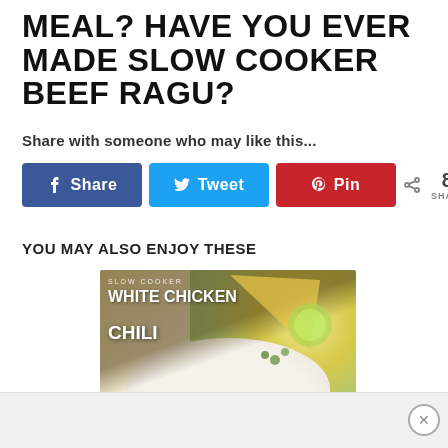MEAL? HAVE YOU EVER MADE SLOW COOKER BEEF RAGU?
Share with someone who may like this...
[Figure (screenshot): Social sharing buttons row: Facebook Share (blue), Twitter Tweet (light blue), Pinterest Pin (red), and share count showing 84 SHARES]
YOU MAY ALSO ENJOY THESE
[Figure (photo): Recipe image for Slow Cooker White Chicken Chili showing a bowl of white chili with tortilla chip, lime, and cilantro garnish]
[Figure (screenshot): Advertisement banner at the bottom of the page with an X close button]